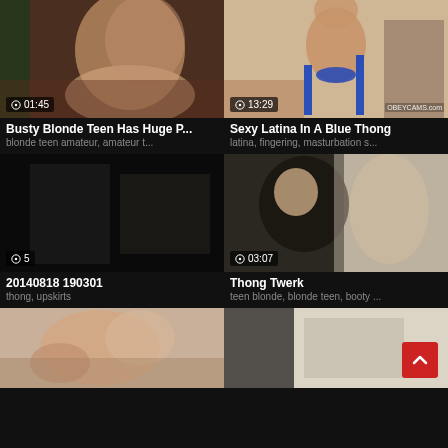[Figure (screenshot): Video thumbnail grid showing adult content videos with titles and tags]
Busty Blonde Teen Has Huge P...
blonde teen amateur, amateur t...
Sexy Latina In A Blue Thong
latina, fingering, masturbation s...
20140818 190301
thong, upskirts
Thong Twerk
teen blonde, blonde teen, booty ...